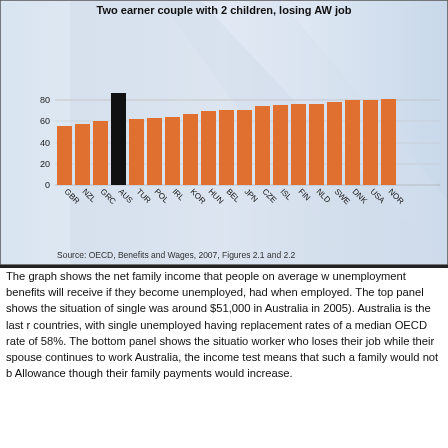[Figure (bar-chart): Two earner couple with 2 children, losing AW job]
Source: OECD, Benefits and Wages, 2007, Figures 2.1 and 2.2
The graph shows the net family income that people on average wages with unemployment benefits will receive if they become unemployed, as a share of income they had when employed. The top panel shows the situation of single unemployed (AW was around $51,000 in Australia in 2005). Australia is the last ranked of OECD countries, with single unemployed having replacement rates of around 44%, below the median OECD rate of 58%. The bottom panel shows the situation of a two-earner couple worker who loses their job while their spouse continues to work at the average wage. In Australia, the income test means that such a family would not be eligible for Newstart Allowance though their family payments would increase.